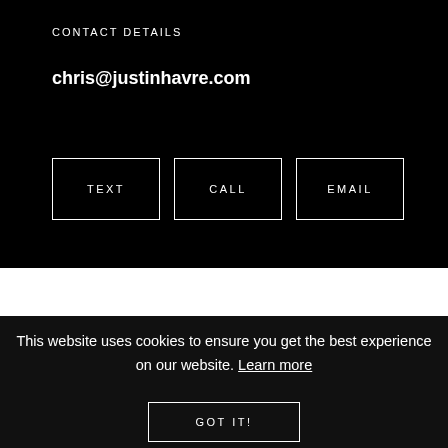CONTACT DETAILS
chris@justinhavre.com
TEXT
CALL
EMAIL
This website uses cookies to ensure you get the best experience on our website. Learn more
GOT IT!